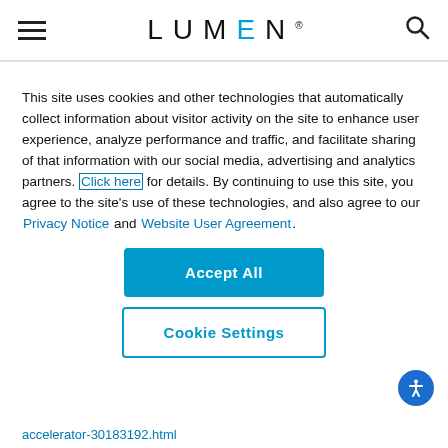LUMEN
This site uses cookies and other technologies that automatically collect information about visitor activity on the site to enhance user experience, analyze performance and traffic, and facilitate sharing of that information with our social media, advertising and analytics partners. Click here for details. By continuing to use this site, you agree to the site's use of these technologies, and also agree to our Privacy Notice and Website User Agreement.
Accept All
Cookie Settings
accelerator-30183192.html